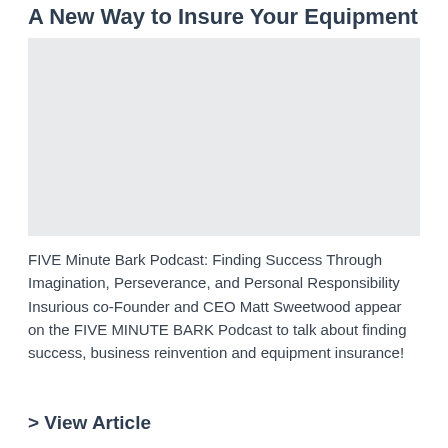A New Way to Insure Your Equipment
[Figure (photo): Image placeholder for article thumbnail related to equipment insurance]
FIVE Minute Bark Podcast: Finding Success Through Imagination, Perseverance, and Personal Responsibility Insurious co-Founder and CEO Matt Sweetwood appear on the FIVE MINUTE BARK Podcast to talk about finding success, business reinvention and equipment insurance!
> View Article